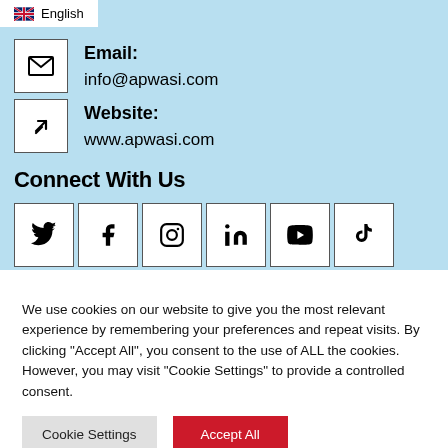English
Email: info@apwasi.com
Website: www.apwasi.com
Connect With Us
[Figure (other): Six social media icon boxes: Twitter, Facebook, Instagram, LinkedIn, YouTube, TikTok]
We use cookies on our website to give you the most relevant experience by remembering your preferences and repeat visits. By clicking "Accept All", you consent to the use of ALL the cookies. However, you may visit "Cookie Settings" to provide a controlled consent.
Cookie Settings
Accept All